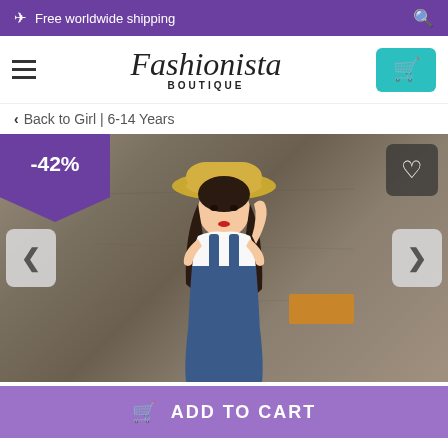✈ Free worldwide shipping
[Figure (logo): Fashionista Boutique logo with cursive script and cart button]
< Back to Girl | 6-14 Years
[Figure (photo): Young girl wearing a straw hat, white t-shirt, and denim overalls, posing against a concrete wall background. Badge shows -42% discount. Heart/wishlist icon top right. Left and right navigation arrows at sides.]
ADD TO CART